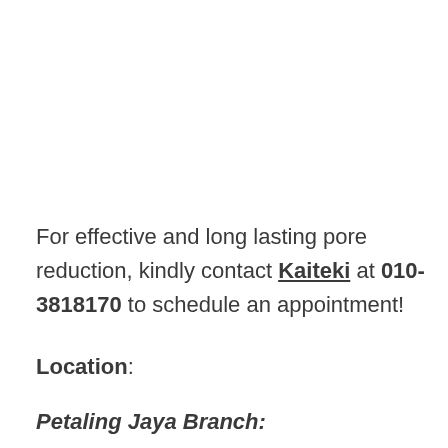For effective and long lasting pore reduction, kindly contact Kaiteki at 010-3818170 to schedule an appointment!
Location:
Petaling Jaya Branch:
Kaiteki Skin Aesthetic Laser, B-1-03, The Hub SS2